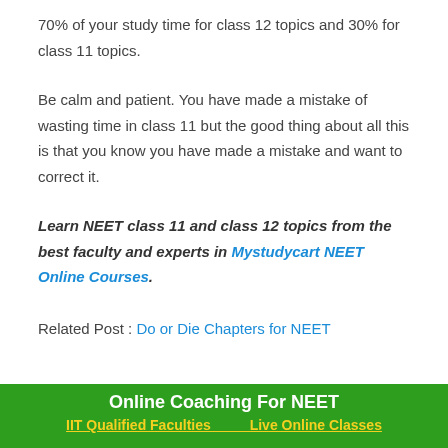70% of your study time for class 12 topics and 30% for class 11 topics.
Be calm and patient. You have made a mistake of wasting time in class 11 but the good thing about all this is that you know you have made a mistake and want to correct it.
Learn NEET class 11 and class 12 topics from the best faculty and experts in Mystudycart NEET Online Courses.
Related Post : Do or Die Chapters for NEET
Online Coaching For NEET
IIT Qualified Faculties   Live Online Classes